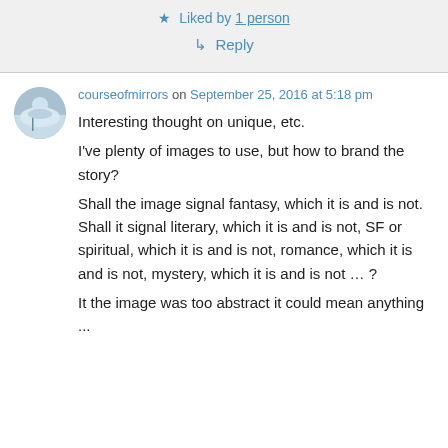★ Liked by 1 person
↳ Reply
courseofmirrors on September 25, 2016 at 5:18 pm
Interesting thought on unique, etc.
I've plenty of images to use, but how to brand the story?
Shall the image signal fantasy, which it is and is not. Shall it signal literary, which it is and is not, SF or spiritual, which it is and is not, romance, which it is and is not, mystery, which it is and is not … ?
It the image was too abstract it could mean anything ...